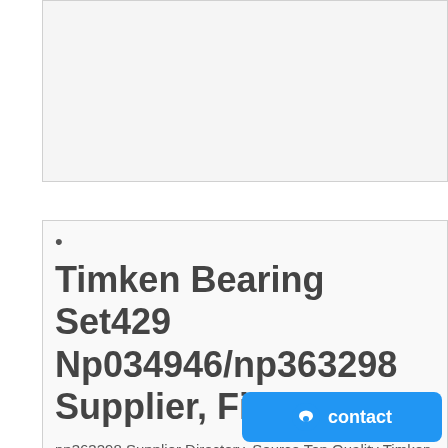[Figure (other): Top image placeholder box, light gray background with border]
•
Timken Bearing Set429 Np034946/np363298 Supplier, Find Bes
np363298 Supplier Directory. Source Top Quality Timken Bearing Set429 Np034946/np363298 Supplier, Timken Bearing Set429 Np034946/np363298 Companies, bearing bu
GET PRICE BY E-MAIL
•
Timken Bearing Np516946 Np037463, Timken Bearing